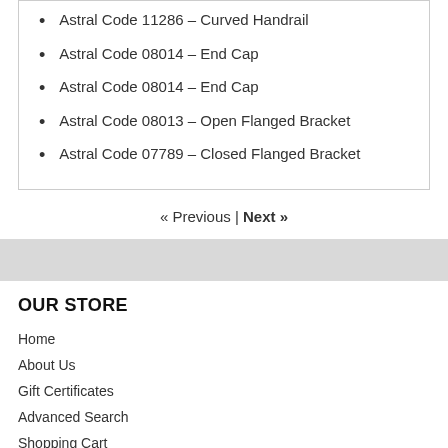Astral Code 11286 – Curved Handrail
Astral Code 08014 – End Cap
Astral Code 08014 – End Cap
Astral Code 08013 – Open Flanged Bracket
Astral Code 07789 – Closed Flanged Bracket
« Previous | Next »
OUR STORE
Home
About Us
Gift Certificates
Advanced Search
Shopping Cart